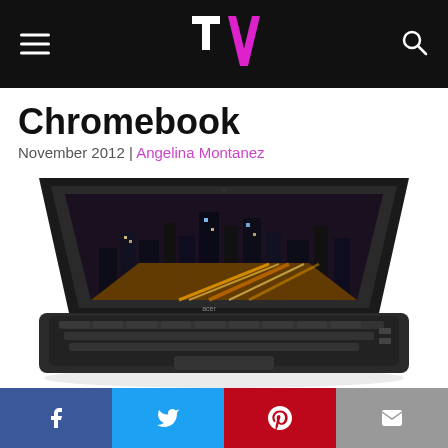TV (logo)
Chromebook
November 2012 | Angelina Montanez
[Figure (photo): Acer Chromebook laptop open at an angle, showing a city skyline with light trails on the screen display.]
[Figure (infographic): Social sharing buttons: Facebook (blue), Twitter (light blue), Pinterest (red), Email (grey)]